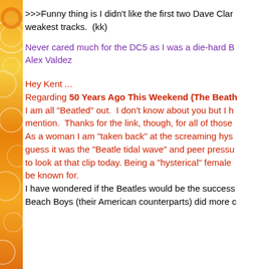>>>Funny thing is I didn't like the first two Dave Clark weakest tracks.  (kk)
Never cared much for the DC5 as I was a die-hard B Alex Valdez
Hey Kent ...
Regarding 50 Years Ago This Weekend (The Beatl I am all "Beatled" out.  I don't know about you but I h mention.  Thanks for the link, though, for all of those As a woman I am "taken back" at the screaming hys guess it was the "Beatle tidal wave" and peer pressu to look at that clip today. Being a "hysterical" female be known for.
I have wondered if the Beatles would be the success Beach Boys (their American counterparts) did more c